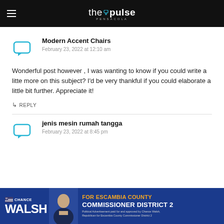the pulse pensacola
Modern Accent Chairs
February 23, 2022 at 12:10 am
Wonderful post however , I was wanting to know if you could write a litte more on this subject? I'd be very thankful if you could elaborate a little bit further. Appreciate it!
↳ REPLY
jenis mesin rumah tangga
February 23, 2022 at 8:45 pm
[Figure (photo): Political advertisement banner for Chance Walsh, Republican for Escambia County Commissioner District 2]